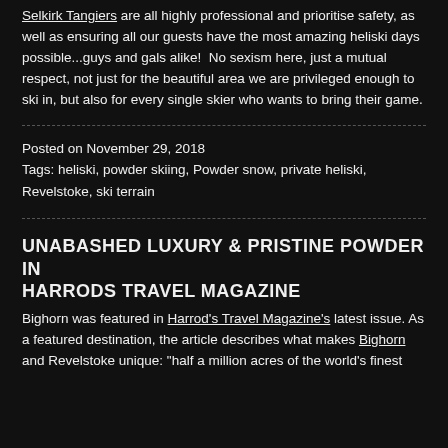Selkirk Tangiers are all highly professional and prioritise safety, as well as ensuring all our guests have the most amazing heliski days possible...guys and gals alike! No sexism here, just a mutual respect, not just for the beautiful area we are privileged enough to ski in, but also for every single skier who wants to bring their game.
Posted on November 29, 2018
Tags: heliski, powder skiing, Powder snow, private heliski, Revelstoke, ski terrain
UNABASHED LUXURY & PRISTINE POWDER IN HARRODS TRAVEL MAGAZINE
Bighorn was featured in Harrod's Travel Magazine's latest issue. As a featured destination, the article describes what makes Bighorn and Revelstoke unique: "half a million acres of the world's finest